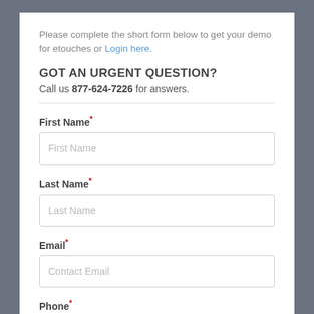Please complete the short form below to get your demo for etouches or Login here.
GOT AN URGENT QUESTION?
Call us 877-624-7226 for answers.
First Name *
Last Name *
Email *
Phone *